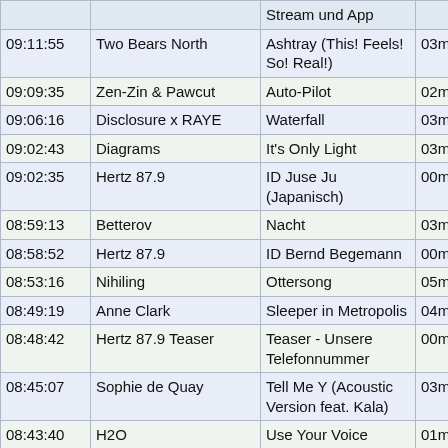| Time | Artist | Title | Duration |
| --- | --- | --- | --- |
|  |  | Stream und App |  |
| 09:11:55 | Two Bears North | Ashtray (This! Feels! So! Real!) | 03m: |
| 09:09:35 | Zen-Zin & Pawcut | Auto-Pilot | 02m: |
| 09:06:16 | Disclosure x RAYE | Waterfall | 03m: |
| 09:02:43 | Diagrams | It's Only Light | 03m: |
| 09:02:35 | Hertz 87.9 | ID Juse Ju (Japanisch) | 00m: |
| 08:59:13 | Betterov | Nacht | 03m: |
| 08:58:52 | Hertz 87.9 | ID Bernd Begemann | 00m: |
| 08:53:16 | Nihiling | Ottersong | 05m: |
| 08:49:19 | Anne Clark | Sleeper in Metropolis | 04m: |
| 08:48:42 | Hertz 87.9 Teaser | Teaser - Unsere Telefonnummer | 00m: |
| 08:45:07 | Sophie de Quay | Tell Me Y (Acoustic Version feat. Kala) | 03m: |
| 08:43:40 | H2O | Use Your Voice | 01m: |
| 08:43:34 | Hertz 87.9 | ID Digitalism | 00m: |
| 08:40:16 | Mattiel | Jeff Goldblum | 03m: |
| 08:36:33 | Cat Power | Stay | 03m: |
| 08:32:55 | Travis | Writing to reach you | 03m: |
| 08:30:39 | George Freeman | New Improved Funk | 02m: |
| 08:27:27 | Cypress Hill | Takeover | 02m: |